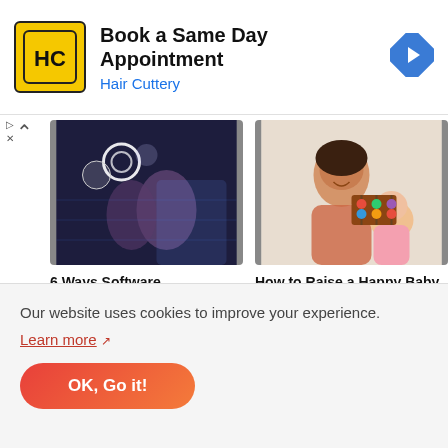[Figure (other): Hair Cuttery advertisement banner with yellow square logo showing HC letters, title 'Book a Same Day Appointment', brand name 'Hair Cuttery' in blue, and a blue diamond navigation arrow icon on right]
[Figure (photo): Photo of two men looking at glowing holographic data/technology screens in a dark environment]
[Figure (photo): Photo of a smiling woman and a baby looking at a colorful abacus toy]
6 Ways Software Development Can Help Your Business Succeed
July 07, 2022
How to Raise a Happy Baby
May 14, 2022
Our website uses cookies to improve your experience.
Learn more ↗
OK, Go it!